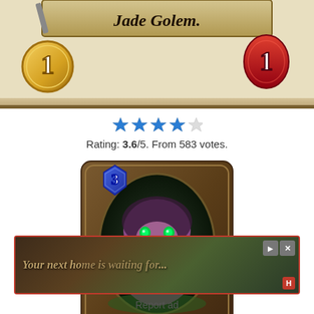[Figure (illustration): Partial Hearthstone card top showing 'Jade Golem.' title banner with gold coin badge showing '1' on the left and red drop badge showing '1' on the right]
Rating: 3.6/5. From 583 votes.
[Figure (illustration): Hearthstone card for 'Jungle Panther' — a 3-cost card featuring a purple lion/panther with green glowing eyes and jewels, set in an ornate brown stone card frame with oval portrait]
[Figure (screenshot): Advertisement banner with dark background, text 'Your next home is waiting for...' and game imagery, with close/skip controls and red H badge]
Report ad